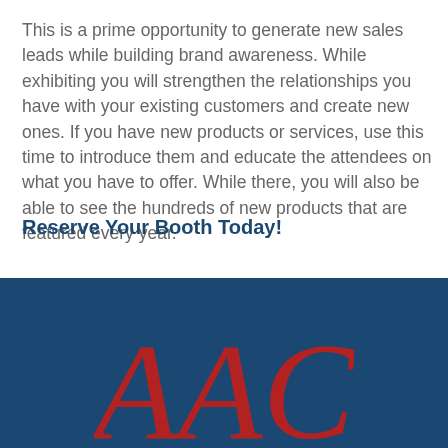This is a prime opportunity to generate new sales leads while building brand awareness. While exhibiting you will strengthen the relationships you have with your existing customers and create new ones. If you have new products or services, use this time to introduce them and educate the attendees on what you have to offer. While there, you will also be able to see the hundreds of new products that are featured every year.
Reserve Your Booth Today!
[Figure (logo): AACC logo in red serif font on dark blue background]